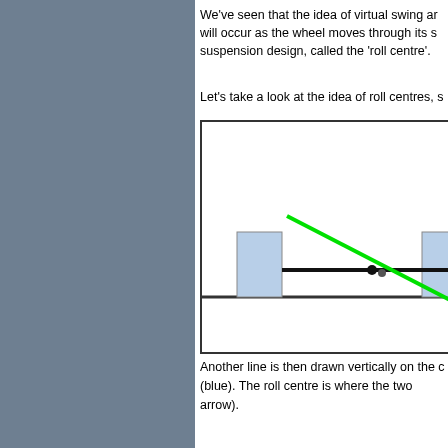We've seen that the idea of virtual swing arm will occur as the wheel moves through its suspension design, called the 'roll centre'.
Let's take a look at the idea of roll centres, s
[Figure (engineering-diagram): Suspension diagram showing a horizontal black bar with two blue rectangular blocks (wheels) at each end, and a green diagonal line crossing the horizontal bar at a marked intersection point (two black dots), representing the virtual swing arm and roll centre geometry.]
Another line is then drawn vertically on the c (blue). The roll centre is where the two arrow).